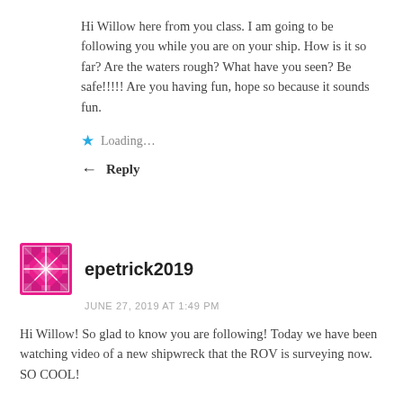Hi Willow here from you class. I am going to be following you while you are on your ship. How is it so far? Are the waters rough? What have you seen? Be safe!!!!! Are you having fun, hope so because it sounds fun.
Loading...
Reply
epetrick2019
JUNE 27, 2019 AT 1:49 PM
Hi Willow! So glad to know you are following! Today we have been watching video of a new shipwreck that the ROV is surveying now. SO COOL!